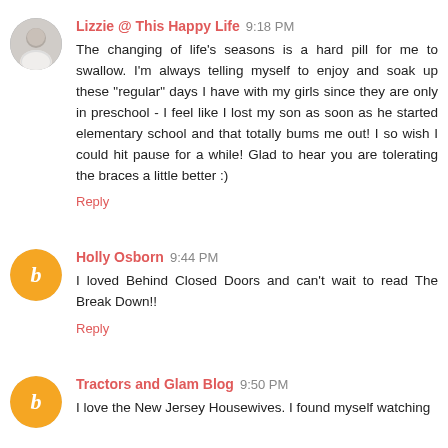[Figure (photo): Circular avatar photo of Lizzie, a woman in white]
Lizzie @ This Happy Life 9:18 PM
The changing of life's seasons is a hard pill for me to swallow. I'm always telling myself to enjoy and soak up these "regular" days I have with my girls since they are only in preschool - I feel like I lost my son as soon as he started elementary school and that totally bums me out! I so wish I could hit pause for a while! Glad to hear you are tolerating the braces a little better :)
Reply
[Figure (logo): Orange circle with white letter B (Blogger logo) for Holly Osborn]
Holly Osborn 9:44 PM
I loved Behind Closed Doors and can't wait to read The Break Down!!
Reply
[Figure (logo): Orange circle with white letter B (Blogger logo) for Tractors and Glam Blog]
Tractors and Glam Blog 9:50 PM
I love the New Jersey Housewives. I found myself watching